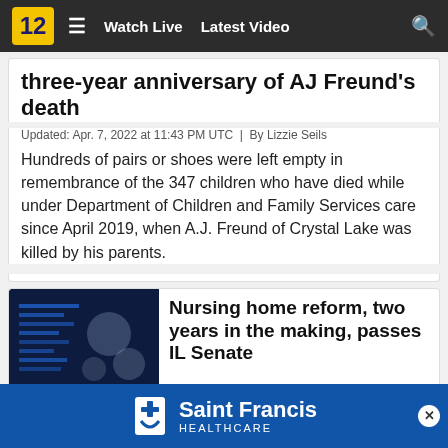Watch Live   Latest Video
three-year anniversary of AJ Freund's death
Updated: Apr. 7, 2022 at 11:43 PM UTC  |  By Lizzie Seils
Hundreds of pairs or shoes were left empty in remembrance of the 347 children who have died while under Department of Children and Family Services care since April 2019, when A.J. Freund of Crystal Lake was killed by his parents.
[Figure (photo): Dark image with blue computer screen text, labeled HEARTLAND...]
Nursing home reform, two years in the making, passes IL Senate
Updated: Apr. 7, 2022 at 2:37 AM UTC  |  By Lizzie Seils
Nursing home reform, that stalled last year in negotiations previously.
[Figure (logo): Saint Francis Healthcare advertisement banner]